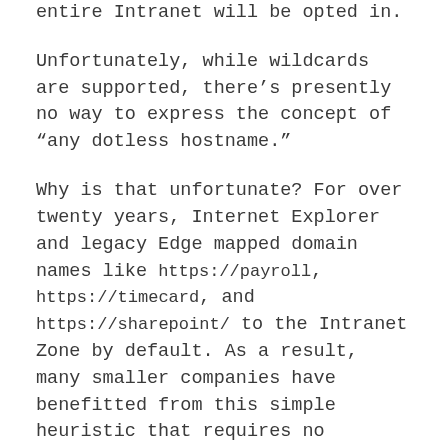entire Intranet will be opted in.
Unfortunately, while wildcards are supported, there's presently no way to express the concept of “any dotless hostname.”
Why is that unfortunate? For over twenty years, Internet Explorer and legacy Edge mapped domain names like https://payroll, https://timecard, and https://sharepoint/ to the Intranet Zone by default. As a result, many smaller companies have benefitted from this simple heuristic that requires no configuration changes by the user or the IT department.
Opportunity: Maybe such a DOTLESS_HOSTS token should exist in the Chromium policy syntax